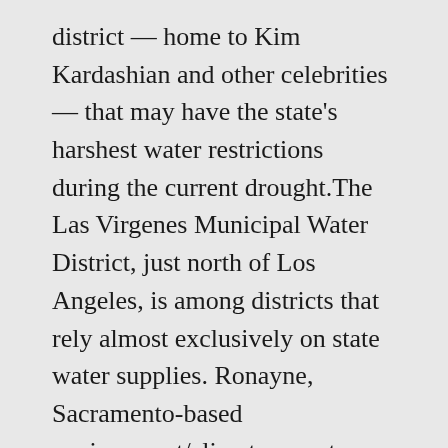district — home to Kim Kardashian and other celebrities — that may have the state's harshest water restrictions during the current drought.The Las Virgenes Municipal Water District, just north of Los Angeles, is among districts that rely almost exclusively on state water supplies. Ronayne, Sacramento-based environment/climate reporter, learned of the district's new penalties for water wasters while reporting that in the midst of drought, local districts may not get any of the state water supply they'd requested in 2022. She decided to find out more, reasoning that what's being imposed in